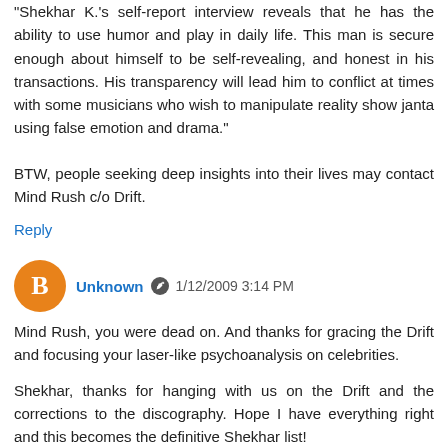"Shekhar K.'s self-report interview reveals that he has the ability to use humor and play in daily life. This man is secure enough about himself to be self-revealing, and honest in his transactions. His transparency will lead him to conflict at times with some musicians who wish to manipulate reality show janta using false emotion and drama."
BTW, people seeking deep insights into their lives may contact Mind Rush c/o Drift.
Reply
Unknown  1/12/2009 3:14 PM
Mind Rush, you were dead on. And thanks for gracing the Drift and focusing your laser-like psychoanalysis on celebrities.

Shekhar, thanks for hanging with us on the Drift and the corrections to the discography. Hope I have everything right and this becomes the definitive Shekhar list!
Reply